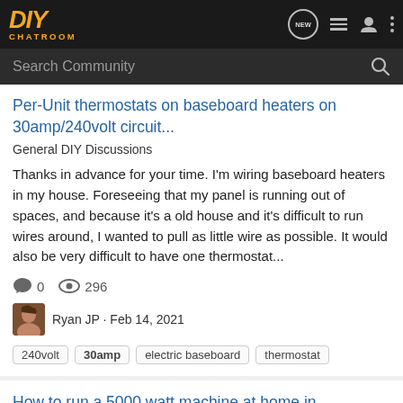DIY CHATROOM - navigation bar with logo and icons
Search Community
Per-Unit thermostats on baseboard heaters on 30amp/240volt circuit...
General DIY Discussions
Thanks in advance for your time. I'm wiring baseboard heaters in my house. Foreseeing that my panel is running out of spaces, and because it's a old house and it's difficult to run wires around, I wanted to pull as little wire as possible. It would also be very difficult to have one thermostat...
0 comments, 296 views
Ryan JP · Feb 14, 2021
240volt
30amp
electric baseboard
thermostat
How to run a 5000 watt machine at home in